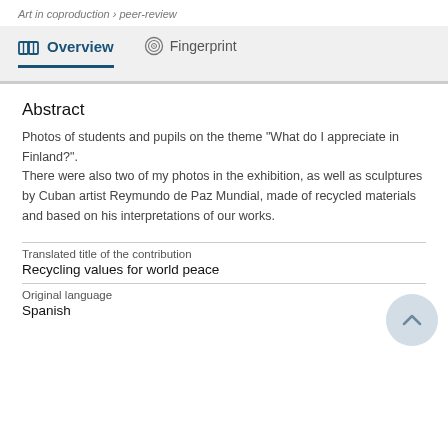Art in coproduction › peer-review
Overview   Fingerprint
Abstract
Photos of students and pupils on the theme "What do I appreciate in Finland?".
There were also two of my photos in the exhibition, as well as sculptures by Cuban artist Reymundo de Paz Mundial, made of recycled materials and based on his interpretations of our works.
Translated title of the contribution
Recycling values for world peace
Original language
Spanish